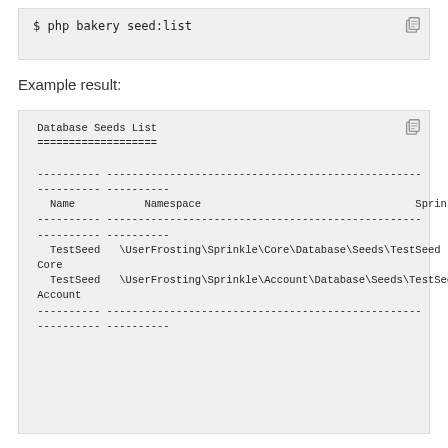$ php bakery seed:list
Example result:
Database Seeds List
===================

 ---------- --------------------------------------------------
 ---------- ----------
   Name           Namespace                                  Sprinkle
 ---------- --------------------------------------------------
 ---------- ----------
   TestSeed   \UserFrosting\Sprinkle\Core\Database\Seeds\TestSeed   Core
   TestSeed   \UserFrosting\Sprinkle\Account\Database\Seeds\TestSeed   Account
 ---------- --------------------------------------------------
 ---------- ----------